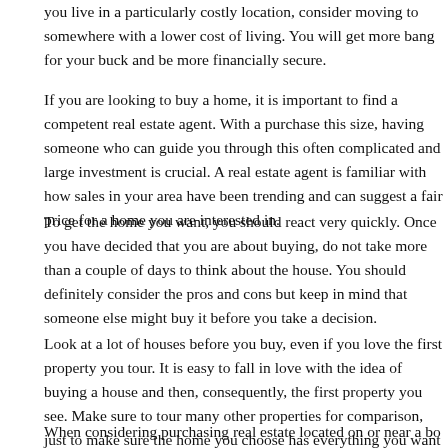you live in a particularly costly location, consider moving to somewhere with a lower cost of living. You will get more bang for your buck and be more financially secure.
If you are looking to buy a home, it is important to find a competent real estate agent. With a purchase this size, having someone who can guide you through this often complicated and large investment is crucial. A real estate agent is familiar with how sales in your area have been trending and can suggest a fair price for a home you are interested in.
To get the home you want, you should react very quickly. Once you have decided that you are about buying, do not take more than a couple of days to think about the house. You should definitely consider the pros and cons but keep in mind that someone else might buy it before you take a decision.
Look at a lot of houses before you buy, even if you love the first property you tour. It is easy to fall in love with the idea of buying a house and then, consequently, the first property you see. Make sure to tour many other properties for comparison, just to make sure the home you choose has everything you want or need.
When considering purchasing real estate located on or near a bo